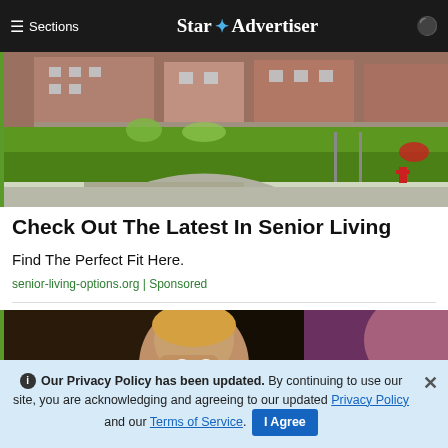≡ Sections  Star ✦ Advertiser
[Figure (photo): Exterior photo of a senior living facility with green lawn, gardens, brick building, and parking area]
Check Out The Latest In Senior Living
Find The Perfect Fit Here.
senior-living-options.org | Sponsored
[Figure (photo): Photo of a person with hands on face, looking stressed or worried, with blurred background lights]
ℹ Our Privacy Policy has been updated. By continuing to use our site, you are acknowledging and agreeing to our updated Privacy Policy and our Terms of Service. I Agree